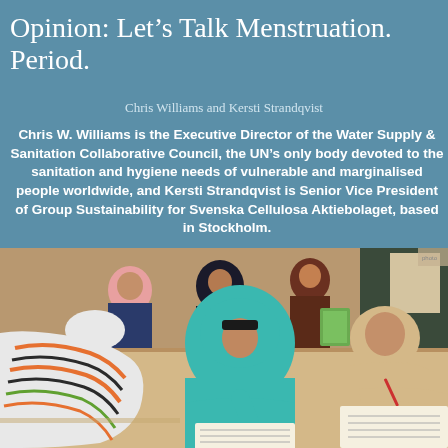Opinion: Let's Talk Menstruation. Period.
Chris Williams and Kersti Strandqvist
Chris W. Williams is the Executive Director of the Water Supply & Sanitation Collaborative Council, the UN's only body devoted to the sanitation and hygiene needs of vulnerable and marginalised people worldwide, and Kersti Strandqvist is Senior Vice President of Group Sustainability for Svenska Cellulosa Aktiebolaget, based in Stockholm.
[Figure (photo): Girls wearing headscarves sitting at desks in a classroom, writing in notebooks. One girl in a teal/turquoise wrap is in the foreground, another in a striped blanket to the left, and a girl in beige headscarf to the right. Women are seated in the background.]